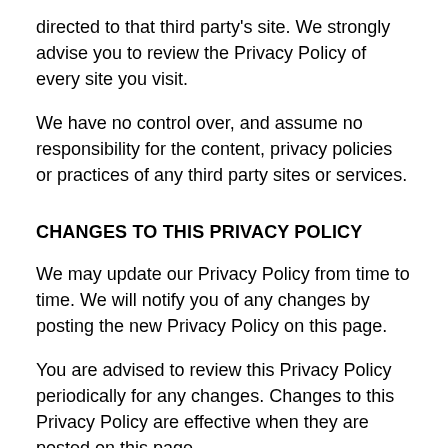directed to that third party's site. We strongly advise you to review the Privacy Policy of every site you visit.
We have no control over, and assume no responsibility for the content, privacy policies or practices of any third party sites or services.
CHANGES TO THIS PRIVACY POLICY
We may update our Privacy Policy from time to time. We will notify you of any changes by posting the new Privacy Policy on this page.
You are advised to review this Privacy Policy periodically for any changes. Changes to this Privacy Policy are effective when they are posted on this page.